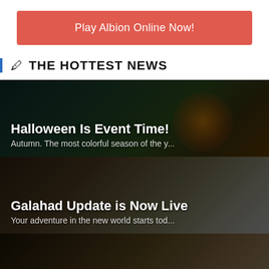Play Albion Online Now!
THE HOTTEST NEWS
[Figure (illustration): Halloween themed dark background with glowing jack-o-lantern pumpkin, with text overlay: 'Halloween Is Event Time!' and subtitle 'Autumn. The most colorful season of the y...']
[Figure (illustration): Nautical/ship scene background with text overlay: 'Galahad Update is Now Live' and subtitle 'Your adventure in the new world starts tod...']
[Figure (illustration): Ship and parchment map scene background with text overlay: 'Galahad and Albion's Release Da...' and subtitle 'Find out all you need to know about the wi...' with 'RELEASE DATE' watermark text at bottom]